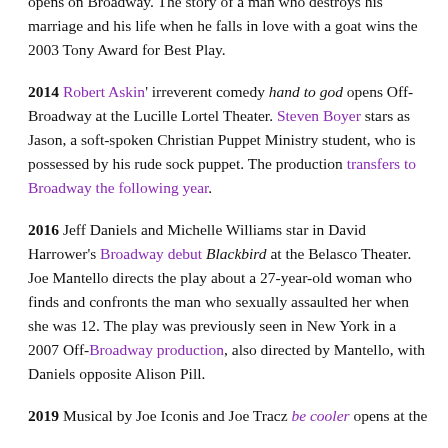opens on Broadway. The story of a man who destroys his marriage and his life when he falls in love with a goat wins the 2003 Tony Award for Best Play.
2014 Robert Askin' irreverent comedy hand to god opens Off-Broadway at the Lucille Lortel Theater. Steven Boyer stars as Jason, a soft-spoken Christian Puppet Ministry student, who is possessed by his rude sock puppet. The production transfers to Broadway the following year.
2016 Jeff Daniels and Michelle Williams star in David Harrower's Broadway debut Blackbird at the Belasco Theater. Joe Mantello directs the play about a 27-year-old woman who finds and confronts the man who sexually assaulted her when she was 12. The play was previously seen in New York in a 2007 Off-Broadway production, also directed by Mantello, with Daniels opposite Alison Pill.
2019 Musical by Joe Iconis and Joe Tracz be cooler opens at the